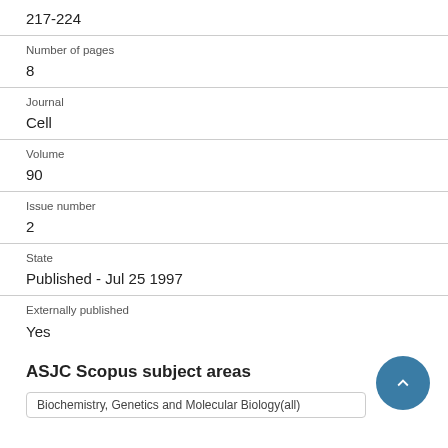217-224
Number of pages
8
Journal
Cell
Volume
90
Issue number
2
State
Published - Jul 25 1997
Externally published
Yes
ASJC Scopus subject areas
Biochemistry, Genetics and Molecular Biology(all)